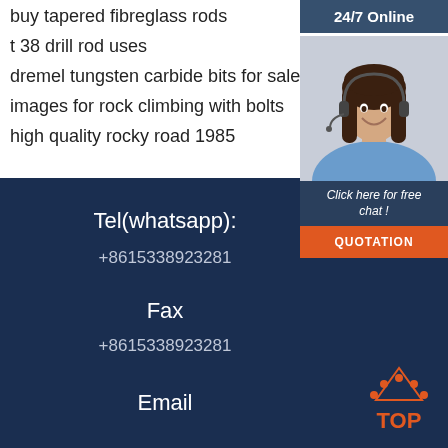buy tapered fibreglass rods
t 38 drill rod uses
dremel tungsten carbide bits for sale
images for rock climbing with bolts
high quality rocky road 1985
[Figure (photo): Customer service representative wearing headset, smiling, with 24/7 Online label, Click here for free chat text, and QUOTATION orange button]
Tel(whatsapp):
+8615338923281
Fax
+8615338923281
Email
[Figure (logo): TOP logo with orange dots/triangle above text]